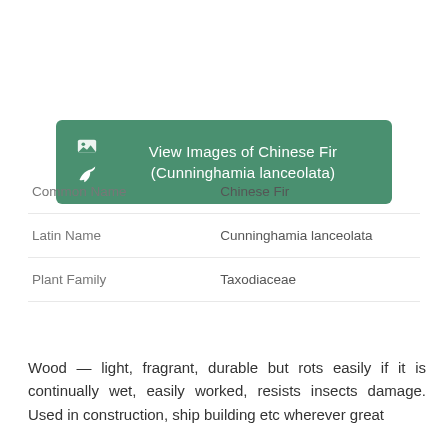[Figure (other): Green banner button with image and leaf icons and text: View Images of Chinese Fir (Cunninghamia lanceolata)]
| Field | Value |
| --- | --- |
| Common Name | Chinese Fir |
| Latin Name | Cunninghamia lanceolata |
| Plant Family | Taxodiaceae |
Wood — light, fragrant, durable but rots easily if it is continually wet, easily worked, resists insects damage. Used in construction, ship building etc wherever great